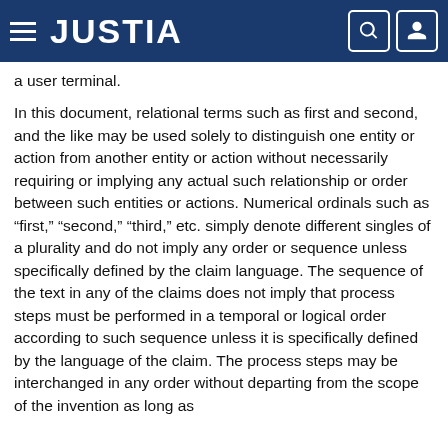JUSTIA
a user terminal.
In this document, relational terms such as first and second, and the like may be used solely to distinguish one entity or action from another entity or action without necessarily requiring or implying any actual such relationship or order between such entities or actions. Numerical ordinals such as “first,” “second,” “third,” etc. simply denote different singles of a plurality and do not imply any order or sequence unless specifically defined by the claim language. The sequence of the text in any of the claims does not imply that process steps must be performed in a temporal or logical order according to such sequence unless it is specifically defined by the language of the claim. The process steps may be interchanged in any order without departing from the scope of the invention as long as